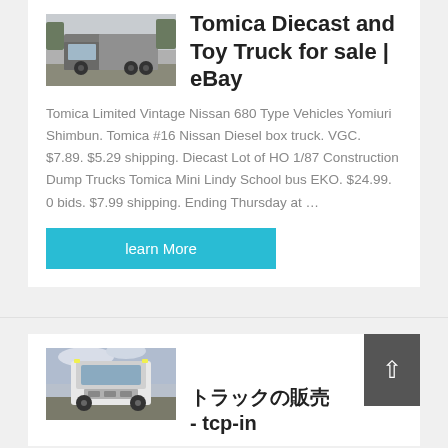[Figure (photo): Photo of a large truck/semi-truck viewed from the front-side angle, parked outdoors.]
Tomica Diecast and Toy Truck for sale | eBay
Tomica Limited Vintage Nissan 680 Type Vehicles Yomiuri Shimbun. Tomica #16 Nissan Diesel box truck. VGC. $7.89. $5.29 shipping. Diecast Lot of HO 1/87 Construction Dump Trucks Tomica Mini Lindy School bus EKO. $24.99. 0 bids. $7.99 shipping. Ending Thursday at …
learn More
[Figure (photo): Photo of a white truck/lorry viewed from the front, parked outdoors.]
トラックの販売 - tcp-in